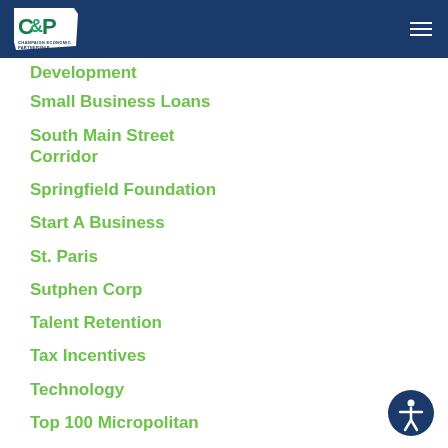CCP logo and navigation menu header
Development
Small Business Loans
South Main Street
Corridor
Springfield Foundation
Start A Business
St. Paris
Sutphen Corp
Talent Retention
Tax Incentives
Technology
Top 100 Micropolitan
Transportation
Triad High School